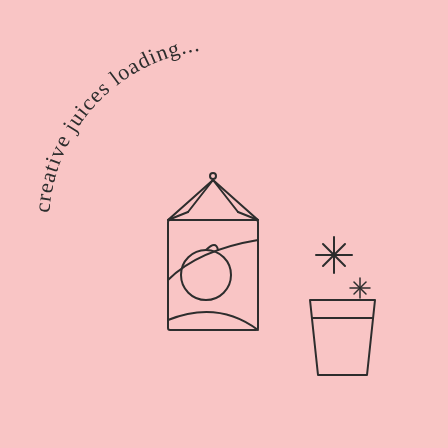[Figure (illustration): Illustration on a pink background featuring curved text reading 'creative juices loading...' arranged in an arc on the left side, with a juice box carton icon showing an orange/fruit design, a glass/cup icon to the right, and two sparkle/star symbols above the glass.]